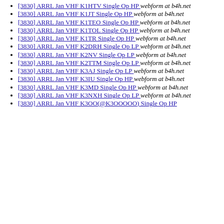[3830] ARRL Jan VHF K1HTV Single Op HP  webform at b4h.net
[3830] ARRL Jan VHF K1JT Single Op HP  webform at b4h.net
[3830] ARRL Jan VHF K1TEO Single Op HP  webform at b4h.net
[3830] ARRL Jan VHF K1TOL Single Op HP  webform at b4h.net
[3830] ARRL Jan VHF K1TR Single Op HP  webform at b4h.net
[3830] ARRL Jan VHF K2DRH Single Op LP  webform at b4h.net
[3830] ARRL Jan VHF K2NV Single Op LP  webform at b4h.net
[3830] ARRL Jan VHF K2TTM Single Op LP  webform at b4h.net
[3830] ARRL Jan VHF K3AJ Single Op LP  webform at b4h.net
[3830] ARRL Jan VHF K3IU Single Op HP  webform at b4h.net
[3830] ARRL Jan VHF K3MD Single Op HP  webform at b4h.net
[3830] ARRL Jan VHF K3NXH Single Op LP  webform at b4h.net
[3830] ARRL Jan VHF K3OO(@K3OOOOO) Single Op HP